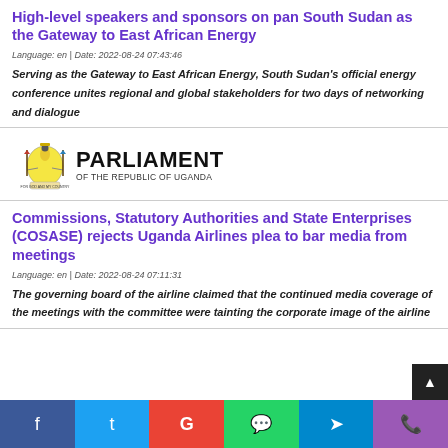High-level speakers and sponsors on pan South Sudan as the Gateway to East African Energy
Language: en | Date: 2022-08-24 07:43:46
Serving as the Gateway to East African Energy, South Sudan's official energy conference unites regional and global stakeholders for two days of networking and dialogue
[Figure (logo): Parliament of the Republic of Uganda logo — coat of arms on left, bold text PARLIAMENT on right with 'OF THE REPUBLIC OF UGANDA' beneath]
Commissions, Statutory Authorities and State Enterprises (COSASE) rejects Uganda Airlines plea to bar media from meetings
Language: en | Date: 2022-08-24 07:11:31
The governing board of the airline claimed that the continued media coverage of the meetings with the committee were tainting the corporate image of the airline